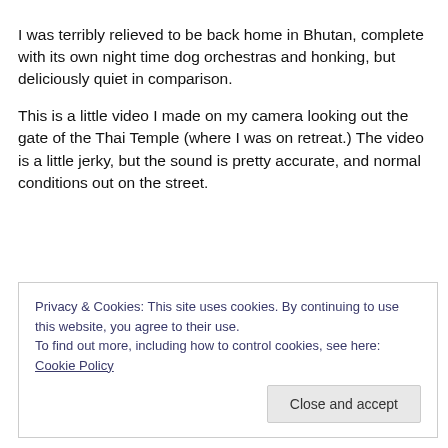I was terribly relieved to be back home in Bhutan, complete with its own night time dog orchestras and honking, but deliciously quiet in comparison.
This is a little video I made on my camera looking out the gate of the Thai Temple (where I was on retreat.) The video is a little jerky, but the sound is pretty accurate, and normal conditions out on the street.
Privacy & Cookies: This site uses cookies. By continuing to use this website, you agree to their use.
To find out more, including how to control cookies, see here: Cookie Policy